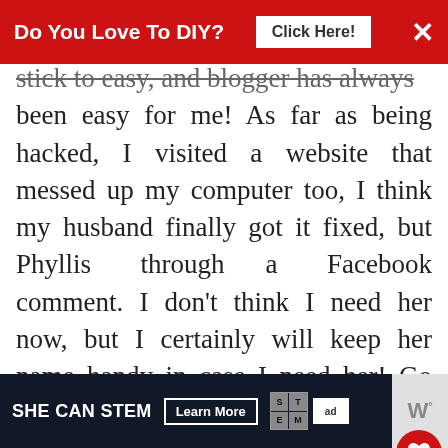[Figure (screenshot): Red advertisement banner at top: 'Do You Love To DIY? Click Here!' with close X button]
stick to easy, and blogger has always been easy for me! As far as being hacked, I visited a website that messed up my computer too, I think my husband finally got it fixed, but Phyllis through a Facebook comment. I don't think I need her now, but I certainly will keep her name handy in case I need her! Go to have you back, and you were s** in my blog roll!
REPLY DELETE
[Figure (screenshot): Liebster award badge (green circular badge) with 'WHAT'S NEXT -> There's A Blogger...' text]
[Figure (screenshot): Bottom advertisement banner: SHE CAN STEM Learn More, with STEM logo and ad council logo, plus W degree logo on right]